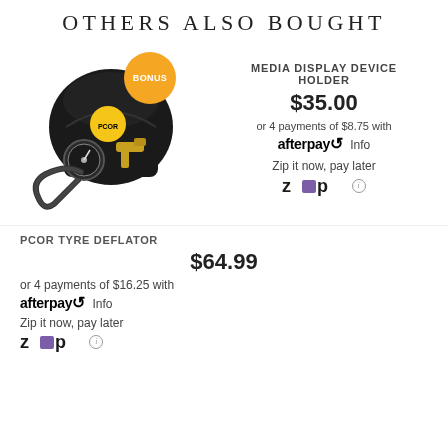OTHERS ALSO BOUGHT
[Figure (photo): A black bag/pouch with a gold badge, attached to a tire pressure gauge/deflator device with brass fittings and a rubber hose, displayed with a BONUS badge overlay]
MEDIA DISPLAY DEVICE HOLDER
$35.00
or 4 payments of $8.75 with afterpay Info
Zip it now, pay later
PCOR TYRE DEFLATOR
$64.99
or 4 payments of $16.25 with afterpay Info
Zip it now, pay later